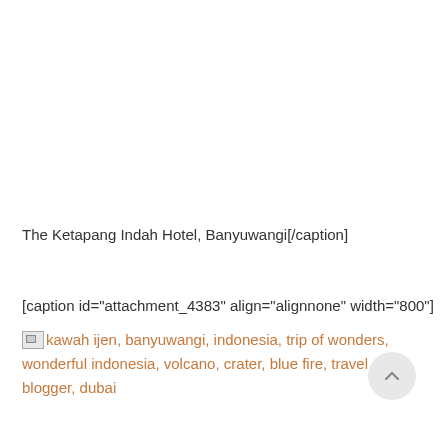The Ketapang Indah Hotel, Banyuwangi[/caption]
[caption id="attachment_4383" align="alignnone" width="800"]
[Figure (other): Broken image icon followed by link text: kawah ijen, banyuwangi, indonesia, trip of wonders, wonderful indonesia, volcano, crater, blue fire, travel blogger, dubai]
[Figure (other): Back to top button (chevron up icon in a light grey circle)]